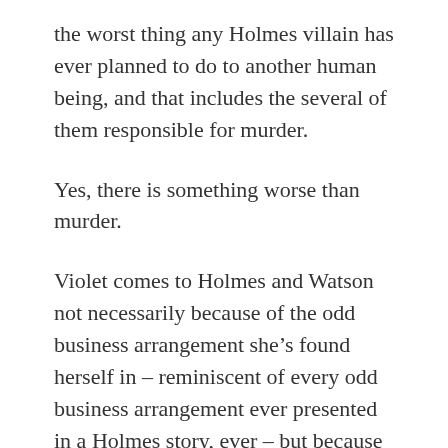the worst thing any Holmes villain has ever planned to do to another human being, and that includes the several of them responsible for murder.
Yes, there is something worse than murder.
Violet comes to Holmes and Watson not necessarily because of the odd business arrangement she’s found herself in – reminiscent of every odd business arrangement ever presented in a Holmes story, ever – but because someone has been following her on her